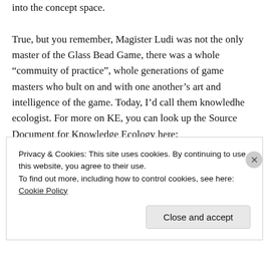into the concept space.

True, but you remember, Magister Ludi was not the only master of the Glass Bead Game, there was a whole “commuity of practice”, whole generations of game masters who bult on and with one another’s art and intelligence of the game. Today, I’d call them knowledhe ecologist. For more on KE, you can look up the Source Document for Knowledge Ecology here:
http://www.co-i-l.com/coil/knowledge-garden/kd/sourcedoc.shtml
Privacy & Cookies: This site uses cookies. By continuing to use this website, you agree to their use.
To find out more, including how to control cookies, see here: Cookie Policy